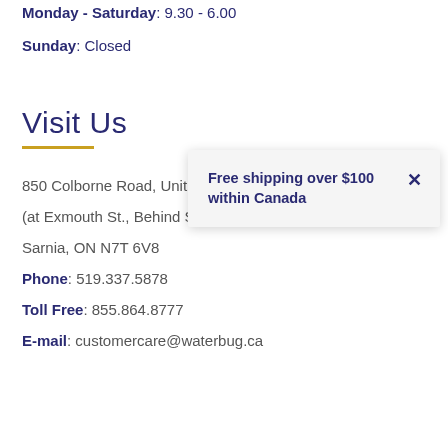Monday - Saturday: 9.30 - 6.00
Sunday: Closed
Visit Us
850 Colborne Road, Unit #1, Northgate Plaza
(at Exmouth St., Behind Shopper's Drug Mart)
Sarnia, ON N7T 6V8
Phone: 519.337.5878
Toll Free: 855.864.8777
E-mail: customercare@waterbug.ca
Free shipping over $100 within Canada